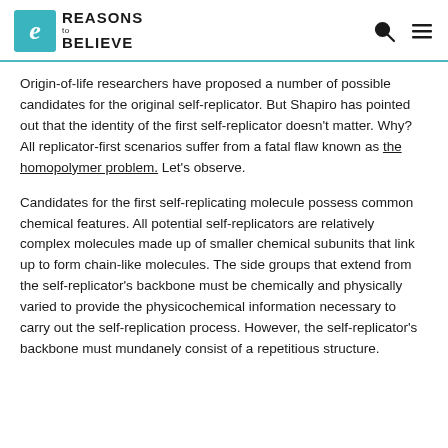Reasons to Believe
Origin-of-life researchers have proposed a number of possible candidates for the original self-replicator. But Shapiro has pointed out that the identity of the first self-replicator doesn't matter. Why? All replicator-first scenarios suffer from a fatal flaw known as the homopolymer problem. Let's observe.
Candidates for the first self-replicating molecule possess common chemical features. All potential self-replicators are relatively complex molecules made up of smaller chemical subunits that link up to form chain-like molecules. The side groups that extend from the self-replicator's backbone must be chemically and physically varied to provide the physicochemical information necessary to carry out the self-replication process. However, the self-replicator's backbone must mundanely consist of a repetitious structure.